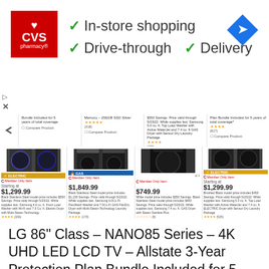[Figure (screenshot): CVS Pharmacy advertisement banner with checkmarks for In-store shopping, Drive-through, and Delivery services, plus a navigation arrow icon]
[Figure (screenshot): Costco product listing page showing Samsung washer/dryer sets with prices starting at $749.99, $1,299.99, $1,849.99, $1,299.99]
LG 86” Class – NANO85 Series – 4K UHD LED LCD TV – Allstate 3-Year Protection Plan Bundle Included for 5 years of total coverage, Item# 9886851, Model